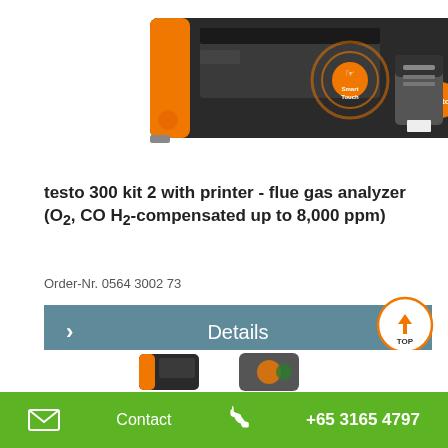[Figure (photo): Product photo of testo 300 flue gas analyzer kit with printer, showing device with orange Smart Touch button indicator and a separate small printer unit]
testo 300 kit 2 with printer - flue gas analyzer (O2, CO H2-compensated up to 8,000 ppm)
Order-Nr. 0564 3002 73
Details
[Figure (photo): Partial view of additional testo product devices at the bottom of the page]
Contact  +65 3165 4797